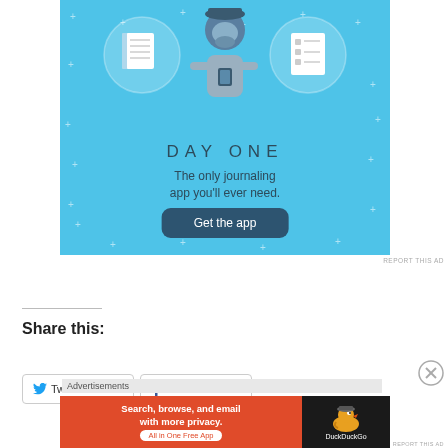[Figure (illustration): Day One journaling app advertisement with blue background showing icons of a notebook, a person holding a phone, and a list. Text reads 'DAY ONE – The only journaling app you'll ever need.' with a 'Get the app' button.]
REPORT THIS AD
Share this:
Twitter
Facebook
Advertisements
[Figure (illustration): DuckDuckGo advertisement banner. Orange left side reads 'Search, browse, and email with more privacy. All in One Free App'. Dark right side shows DuckDuckGo logo and name.]
REPORT THIS AD